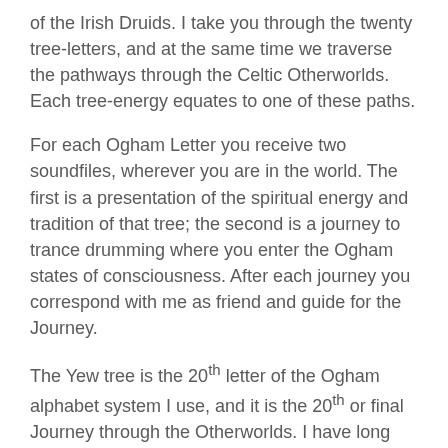of the Irish Druids. I take you through the twenty tree-letters, and at the same time we traverse the pathways through the Celtic Otherworlds. Each tree-energy equates to one of these paths.
For each Ogham Letter you receive two soundfiles, wherever you are in the world. The first is a presentation of the spiritual energy and tradition of that tree; the second is a journey to trance drumming where you enter the Ogham states of consciousness. After each journey you correspond with me as friend and guide for the Journey.
The Yew tree is the 20th letter of the Ogham alphabet system I use, and it is the 20th or final Journey through the Otherworlds. I have long worked in a Yew grove and find the energy quite intoxicating and healing. The Yew is evergreen